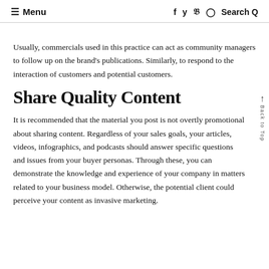≡ Menu   f  y  p  ⊙  Search Q
Usually, commercials used in this practice can act as community managers to follow up on the brand's publications. Similarly, to respond to the interaction of customers and potential customers.
Share Quality Content
It is recommended that the material you post is not overtly promotional about sharing content. Regardless of your sales goals, your articles, videos, infographics, and podcasts should answer specific questions and issues from your buyer personas. Through these, you can demonstrate the knowledge and experience of your company in matters related to your business model. Otherwise, the potential client could perceive your content as invasive marketing.